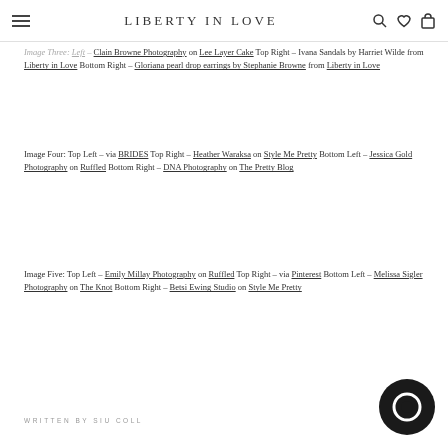Liberty in Love
Image Three: Left – Clain Browne Photography on Lee Layer Cake Top Right – Ivana Sandals by Harriet Wilde from Liberty in Love Bottom Right – Gloriana pearl drop earrings by Stephanie Browne from Liberty in Love
Image Four: Top Left – via BRIDES Top Right – Heather Waraksa on Style Me Pretty Bottom Left – Jessica Gold Photography on Ruffled Bottom Right – DNA Photography on The Pretty Blog
Image Five: Top Left – Emily Millay Photography on Ruffled Top Right – via Pinterest Bottom Left – Melissa Sigler Photography on The Knot Bottom Right – Betsi Ewing Studio on Style Me Pretty
WRITTEN BY SIU COLL